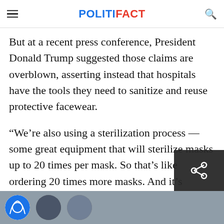POLITIFACT
But at a recent press conference, President Donald Trump suggested those claims are overblown, asserting instead that hospitals have the tools they need to sanitize and reuse protective facewear.
"We’re also using a sterilization process — some great equipment that will sterilize masks up to 20 times per mask. So that’s like ordering 20 times more masks. And it’s working very well," Trump said at the April 23 briefing
[Figure (screenshot): Bottom bar with gray background showing partial circular logos and a dark share button overlay with share icon in bottom right corner]